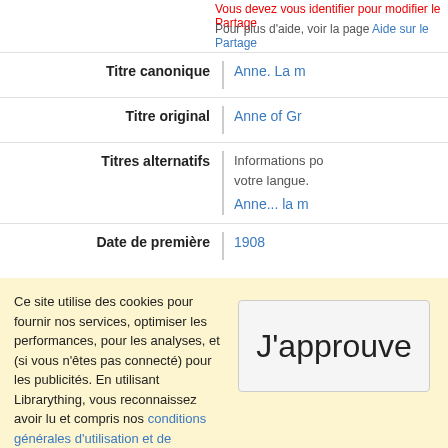Vous devez vous identifier pour modifier le Partage
Pour plus d'aide, voir la page Aide sur le Partage
| Titre canonique | Anne. La m... |
| Titre original | Anne of Gr... |
| Titres alternatifs | Informations pro... votre langue.
Anne... la m... |
| Date de première | 1908 |
Ce site utilise des cookies pour fournir nos services, optimiser les performances, pour les analyses, et (si vous n'êtes pas connecté) pour les publicités. En utilisant Librarything, vous reconnaissez avoir lu et compris nos conditions générales d'utilisation et de services. Votre utilisation du site et de ses services vaut acceptation de ces conditions et termes.
J'approuve